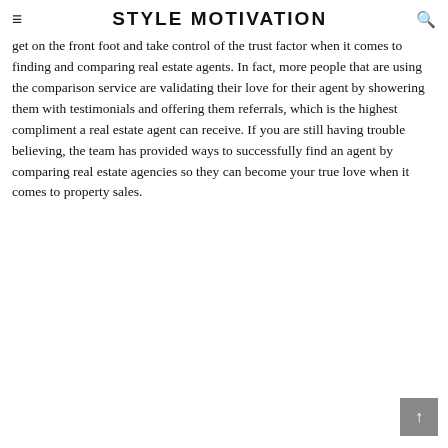STYLE MOTIVATION
get on the front foot and take control of the trust factor when it comes to finding and comparing real estate agents. In fact, more people that are using the comparison service are validating their love for their agent by showering them with testimonials and offering them referrals, which is the highest compliment a real estate agent can receive. If you are still having trouble believing, the team has provided ways to successfully find an agent by comparing real estate agencies so they can become your true love when it comes to property sales.